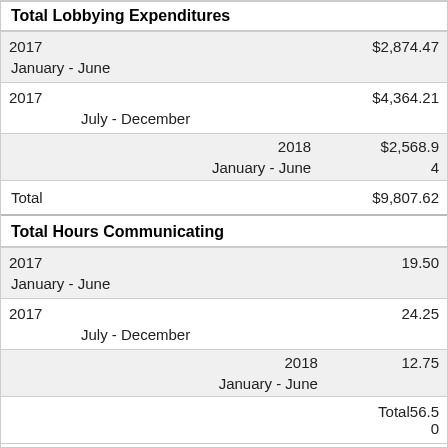Total Lobbying Expenditures
| Period | Amount |
| --- | --- |
| 2017 January - June | $2,874.47 |
| 2017 July - December | $4,364.21 |
| 2018 January - June | $2,568.94 |
| Total | $9,807.62 |
Total Hours Communicating
| Period | Hours |
| --- | --- |
| 2017 January - June | 19.50 |
| 2017 July - December | 24.25 |
| 2018 January - June | 12.75 |
| Total | 56.50 |